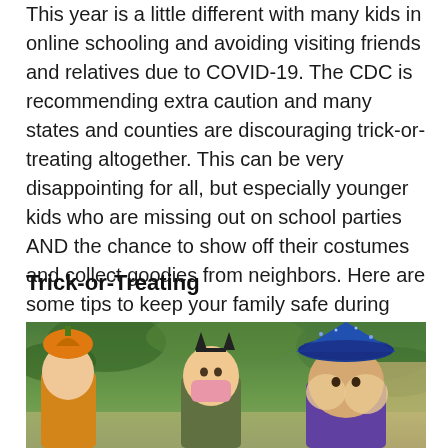This year is a little different with many kids in online schooling and avoiding visiting friends and relatives due to COVID-19. The CDC is recommending extra caution and many states and counties are discouraging trick-or-treating altogether. This can be very disappointing for all, but especially younger kids who are missing out on school parties AND the chance to show off their costumes and collect goodies from neighbors. Here are some tips to keep your family safe during this spooky time of year.
Trick-or-Treating
[Figure (photo): Three children in Halloween costumes including witch hats and a pumpkin hat, one wearing a pink face mask, outdoors with green trees in background]